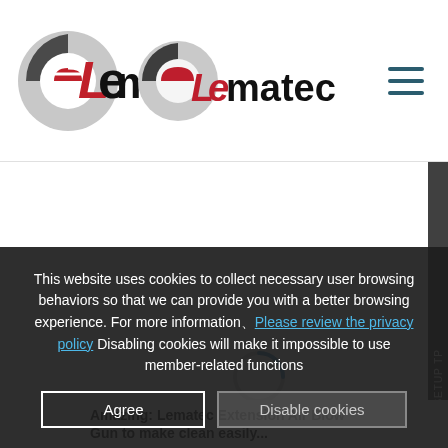[Figure (logo): Lematec logo with circular grey and red globe icon and red 'Le' text combined with black 'matec' text]
[Figure (other): Loading spinner circle partially blue on white background inside a content area]
This website uses cookies to collect necessary user browsing behaviors so that we can provide you with a better browsing experience. For more information, Please review the privacy policy Disabling cookies will make it impossible to use member-related functions
Agree
Disable cookies
Amazing: Lematec Extension Air Blow Gun to make clean easily...